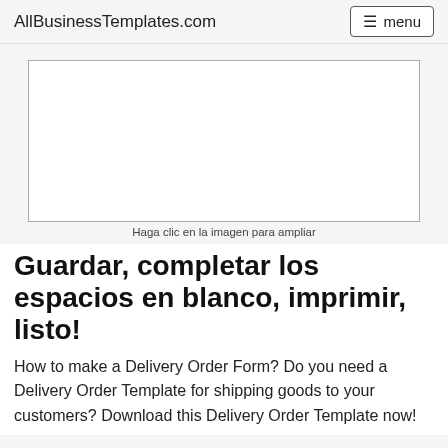AllBusinessTemplates.com  ☰ menu
[Figure (other): Blank white rectangle representing a template preview image]
Haga clic en la imagen para ampliar
Guardar, completar los espacios en blanco, imprimir, listo!
How to make a Delivery Order Form? Do you need a Delivery Order Template for shipping goods to your customers? Download this Delivery Order Template now!